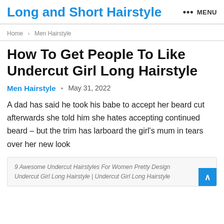Long and Short Hairstyle  ••• MENU
Home > Men Hairstyle
How To Get People To Like Undercut Girl Long Hairstyle
Men Hairstyle  •  May 31, 2022
A dad has said he took his babe to accept her beard cut afterwards she told him she hates accepting continued beard – but the trim has larboard the girl's mum in tears over her new look
9 Awesome Undercut Hairstyles For Women Pretty Design Undercut Girl Long Hairstyle | Undercut Girl Long Hairstyle